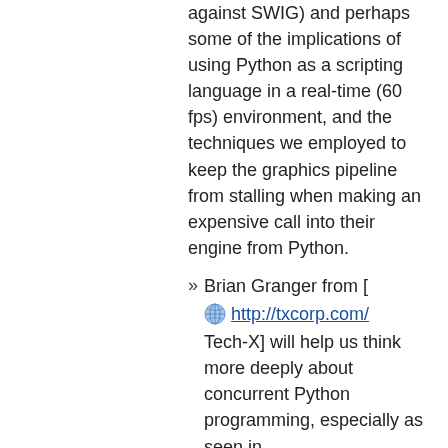against SWIG) and perhaps some of the implications of using Python as a scripting language in a real-time (60 fps) environment, and the techniques we employed to keep the graphics pipeline from stalling when making an expensive call into their engine from Python.
Brian Granger from [ http://txcorp.com/ Tech-X] will help us think more deeply about concurrent Python programming, especially as seen in